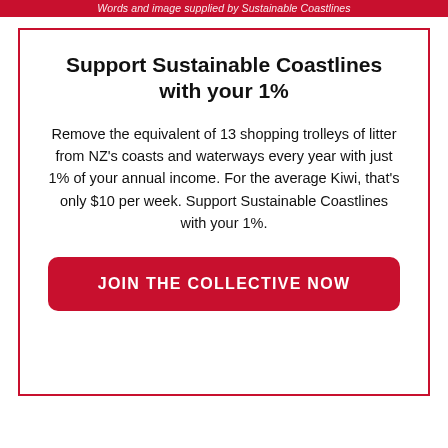Words and image supplied by Sustainable Coastlines
Support Sustainable Coastlines with your 1%
Remove the equivalent of 13 shopping trolleys of litter from NZ's coasts and waterways every year with just 1% of your annual income. For the average Kiwi, that's only $10 per week. Support Sustainable Coastlines with your 1%.
JOIN THE COLLECTIVE NOW